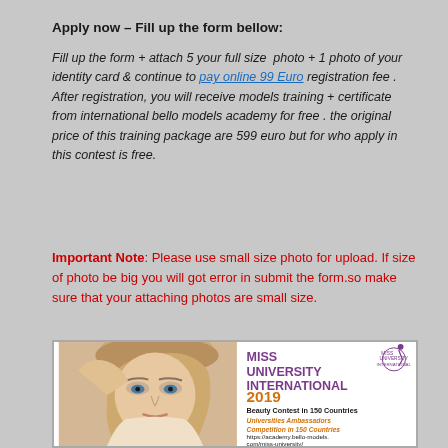Apply now – Fill up the form bellow:
Fill up the form + attach 5 your full size  photo + 1 photo of your identity card & continue to pay online 99 Euro registration fee . After registration, you will receive models training + certificate  from international bello models academy for free . the original price of this training package are 599 euro but for who apply in this contest is free.
Important Note: Please use small size photo for upload. If size of photo be big you will got error in submit the form.so make sure that your attaching photos are small size.
[Figure (illustration): Miss University International 2019 advertisement banner showing a blonde female model wearing a beret on the left side, and on the right side text reading MISS UNIVERSITY INTERNATIONAL 2019, Beauty Contest in 150 Countries, Universities Ambassadors Competition in 150 Countries, https://academy.bello-models.com/miss-university/ with a logo]